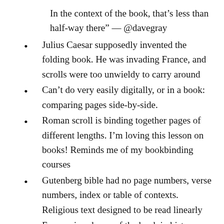In the context of the book, that's less than half-way there" — @davegray
Julius Caesar supposedly invented the folding book. He was invading France, and scrolls were too unwieldy to carry around
Can't do very easily digitally, or in a book: comparing pages side-by-side.
Roman scroll is binding together pages of different lengths. I'm loving this lesson on books! Reminds me of my bookbinding courses
Gutenberg bible had no page numbers, verse numbers, index or table of contexts. Religious text designed to be read linearly
Four major phases of the book in history: scroll, tablet, codex, metadata. On the web we're still at the first phase — @davegray